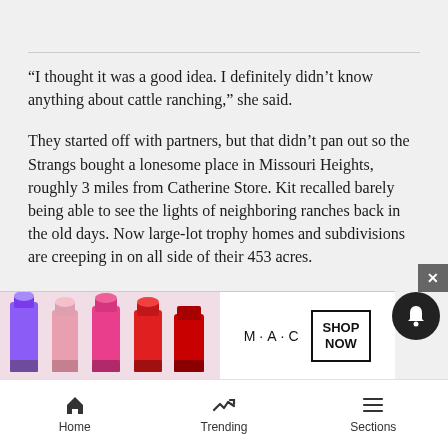“I thought it was a good idea. I definitely didn’t know anything about cattle ranching,” she said.
They started off with partners, but that didn’t pan out so the Strangs bought a lonesome place in Missouri Heights, roughly 3 miles from Catherine Store. Kit recalled barely being able to see the lights of neighboring ranches back in the old days. Now large-lot trophy homes and subdivisions are creeping in on all side of their 453 acres.
Bridget was born and raised on the property and relishes... loose...
[Figure (advertisement): MAC cosmetics advertisement showing lipsticks and SHOP NOW button]
Home   Trending   Sections